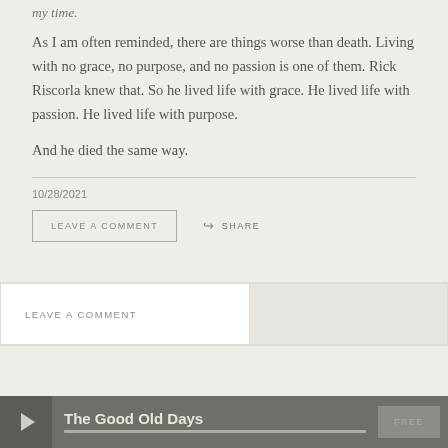my time.
As I am often reminded, there are things worse than death. Living with no grace, no purpose, and no passion is one of them. Rick Riscorla knew that. So he lived life with grace. He lived life with passion. He lived life with purpose.
And he died the same way.
10/28/2021
LEAVE A COMMENT
SHARE
LEAVE A COMMENT
The Good Old Days
FREE